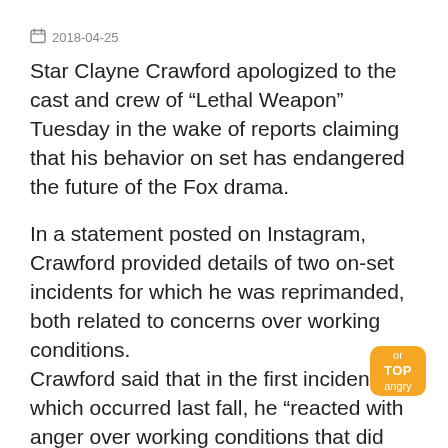2018-04-25
Star Clayne Crawford apologized to the cast and crew of “Lethal Weapon” Tuesday in the wake of reports claiming that his behavior on set has endangered the future of the Fox drama.
In a statement posted on Instagram, Crawford provided details of two on-set incidents for which he was reprimanded, both related to concerns over working conditions.
Crawford said that in the first incident, which occurred last fall, he “reacted with anger over working conditions that did not feel safe or conducive to good work,” prompting an angry response from the director and assistant